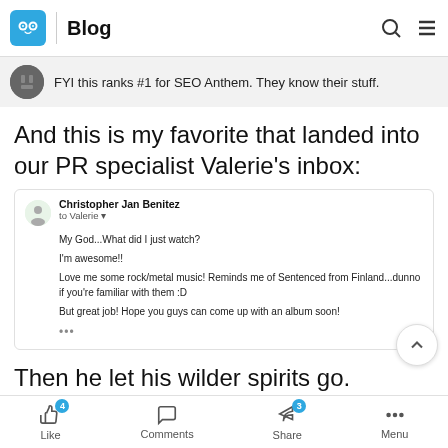Blog
FYI this ranks #1 for SEO Anthem. They know their stuff.
And this is my favorite that landed into our PR specialist Valerie’s inbox:
[Figure (screenshot): Email screenshot from Christopher Jan Benitez to Valerie. Message reads: My God...What did I just watch? I'm awesome!! Love me some rock/metal music! Reminds me of Sentenced from Finland...dunno if you're familiar with them :D But great job! Hope you guys can come up with an album soon!]
Then he let his wilder spirits go.
Like 4   Comments   Share 3   Menu